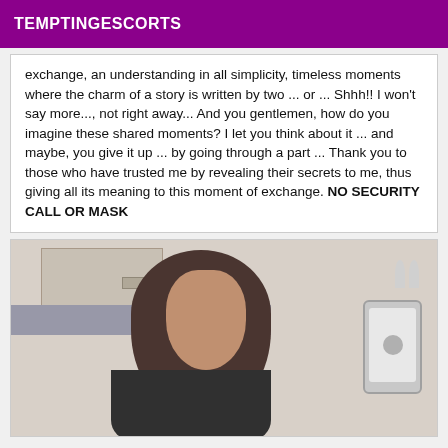TEMPTINGESCORTS
exchange, an understanding in all simplicity, timeless moments where the charm of a story is written by two ... or ... Shhh!! I won't say more..., not right away... And you gentlemen, how do you imagine these shared moments? I let you think about it ... and maybe, you give it up ... by going through a part ... Thank you to those who have trusted me by revealing their secrets to me, thus giving all its meaning to this moment of exchange. NO SECURITY CALL OR MASK
[Figure (photo): Mirror selfie of a young woman with dark hair, wearing a dark top, holding a phone with a rabbit-ear case. Kitchen/bathroom background with cabinets and backsplash tiles visible.]